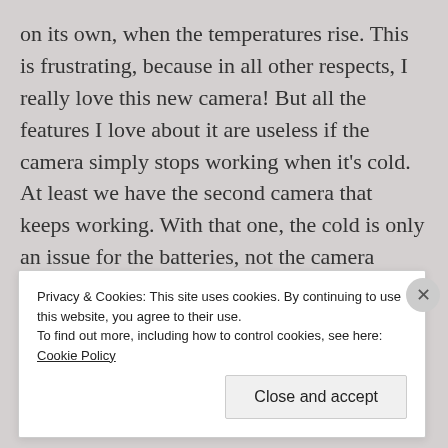on its own, when the temperatures rise. This is frustrating, because in all other respects, I really love this new camera! But all the features I love about it are useless if the camera simply stops working when it's cold. At least we have the second camera that keeps working. With that one, the cold is only an issue for the batteries, not the camera itself. As long as it can get any juice out of the batteries, it will keep chugging along.
Advertisements
[Figure (other): WordPress.com advertisement banner with logo and 'Start Today' button on pink background]
Privacy & Cookies: This site uses cookies. By continuing to use this website, you agree to their use.
To find out more, including how to control cookies, see here: Cookie Policy
Close and accept